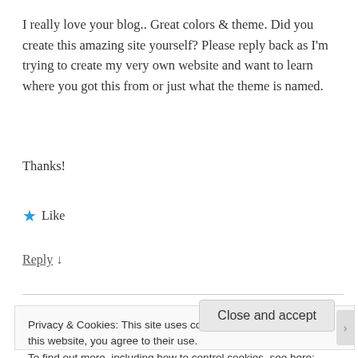I really love your blog.. Great colors & theme. Did you create this amazing site yourself? Please reply back as I'm trying to create my very own website and want to learn where you got this from or just what the theme is named.
Thanks!
★ Like
Reply ↓
Privacy & Cookies: This site uses cookies. By continuing to use this website, you agree to their use.
To find out more, including how to control cookies, see here: Cookie Policy
Close and accept